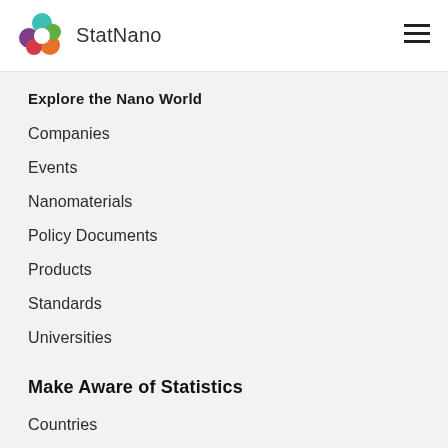StatNano
Explore the Nano World
Companies
Events
Nanomaterials
Policy Documents
Products
Standards
Universities
Make Aware of Statistics
Countries
Nanomaterials